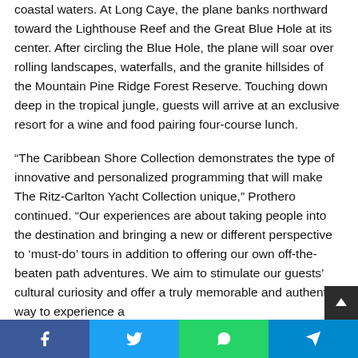coastal waters. At Long Caye, the plane banks northward toward the Lighthouse Reef and the Great Blue Hole at its center. After circling the Blue Hole, the plane will soar over rolling landscapes, waterfalls, and the granite hillsides of the Mountain Pine Ridge Forest Reserve. Touching down deep in the tropical jungle, guests will arrive at an exclusive resort for a wine and food pairing four-course lunch.
“The Caribbean Shore Collection demonstrates the type of innovative and personalized programming that will make The Ritz-Carlton Yacht Collection unique,” Prothero continued. “Our experiences are about taking people into the destination and bringing a new or different perspective to ‘must-do’ tours in addition to offering our own off-the-beaten path adventures. We aim to stimulate our guests’ cultural curiosity and offer a truly memorable and authentic way to experience a